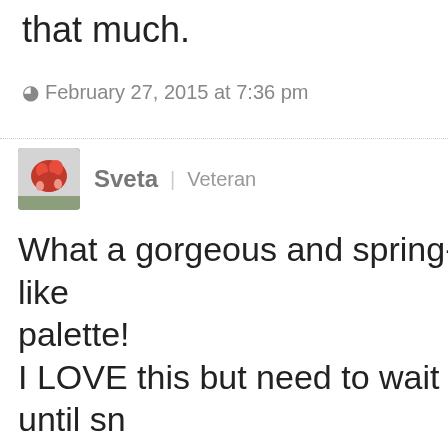that much.
February 27, 2015 at 7:36 pm
Sveta | Veteran
What a gorgeous and spring-like palette! I LOVE this but need to wait until sn melts away before I can get to wear variation of this outfit as it is black